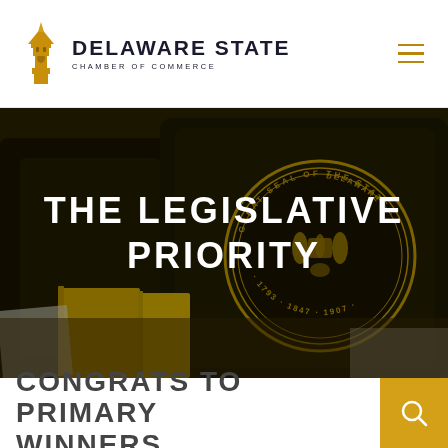Delaware State Chamber of Commerce
[Figure (photo): Photo of Delaware legislative chamber chairs, showing the Great Seal of the State of Delaware on a leather chair back with yellow binders on a desk, overlaid with the text 'THE LEGISLATIVE PRIORITY']
THE LEGISLATIVE PRIORITY
CONGRATS TO PRIMARY WINNERS